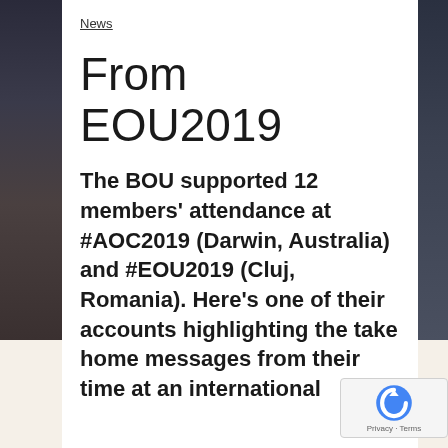News
From EOU2019
The BOU supported 12 members' attendance at #AOC2019 (Darwin, Australia) and #EOU2019 (Cluj, Romania). Here's one of their accounts highlighting the take home messages from their time at an international